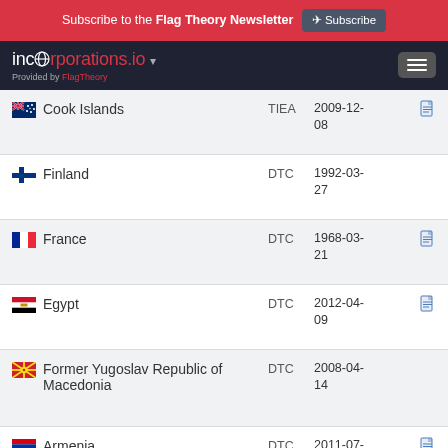Subscribe to the Flag Theory Newsletter Subscribe
incorporations.io — Provided by FlagTheory
| Country | Type | Date | PDF |
| --- | --- | --- | --- |
| Cook Islands | TIEA | 2009-12-08 | PDF |
| Finland | DTC | 1992-03-27 |  |
| France | DTC | 1968-03-21 | PDF |
| Egypt | DTC | 2012-04-09 | PDF |
| Former Yugoslav Republic of Macedonia | DTC | 2008-04-14 |  |
| Armenia | DTC | 2011-07- | PDF |